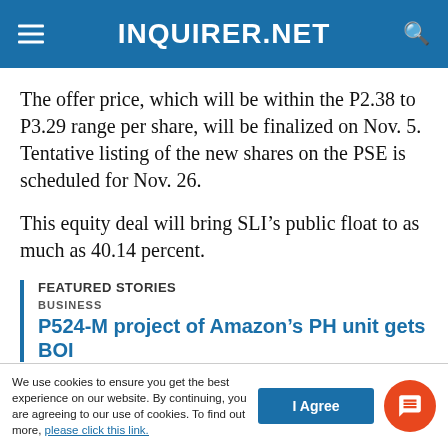INQUIRER.NET
The offer price, which will be within the P2.38 to P3.29 range per share, will be finalized on Nov. 5. Tentative listing of the new shares on the PSE is scheduled for Nov. 26.
This equity deal will bring SLI’s public float to as much as 40.14 percent.
FEATURED STORIES
BUSINESS
P524-M project of Amazon’s PH unit gets BOI
We use cookies to ensure you get the best experience on our website. By continuing, you are agreeing to our use of cookies. To find out more, please click this link.